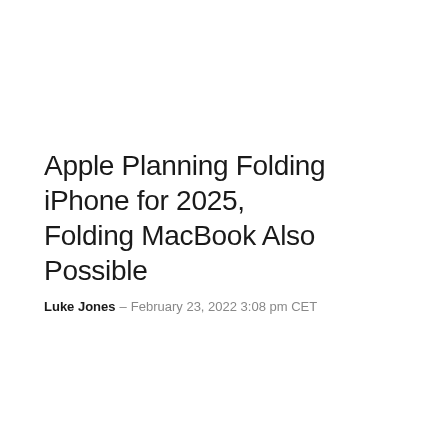Apple Planning Folding iPhone for 2025, Folding MacBook Also Possible
Luke Jones – February 23, 2022 3:08 pm CET